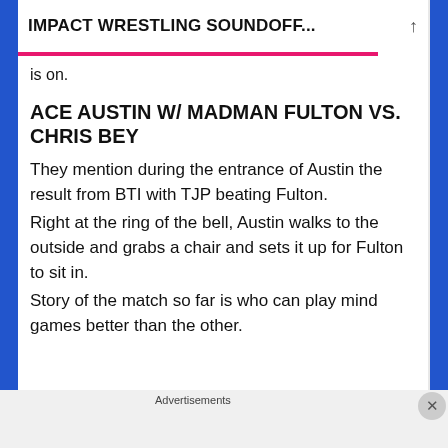IMPACT WRESTLING SOUNDOFF...
is on.
ACE AUSTIN W/ MADMAN FULTON VS. CHRIS BEY
They mention during the entrance of Austin the result from BTI with TJP beating Fulton.
Right at the ring of the bell, Austin walks to the outside and grabs a chair and sets it up for Fulton to sit in.
Story of the match so far is who can play mind games better than the other.
Advertisements
[Figure (other): DuckDuckGo advertisement banner: orange section with text 'Search, browse, and email with more privacy. All in One Free App' and dark section with DuckDuckGo logo]